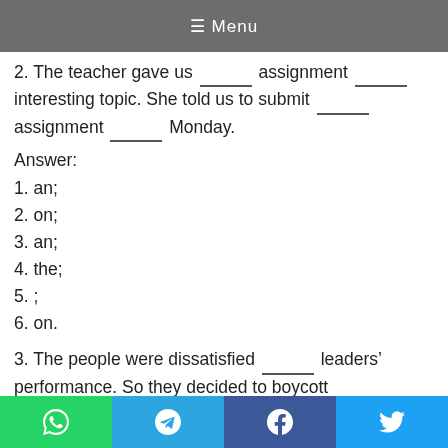≡ Menu
2. The teacher gave us ______ assignment ______ interesting topic. She told us to submit ______ assignment ______ Monday.
Answer:
1. an;
2. on;
3. an;
4. the;
5. ;
6. on.
3. The people were dissatisfied ______ leaders' performance. So they decided to boycott ______ elections as ______ mark ______ protest. ______ leaders appealed      them to reconsider their